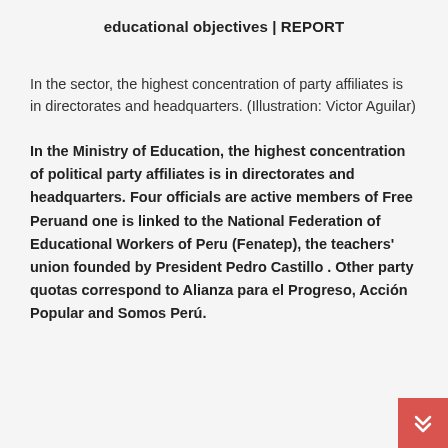educational objectives | REPORT
In the sector, the highest concentration of party affiliates is in directorates and headquarters. (Illustration: Victor Aguilar)
In the Ministry of Education, the highest concentration of political party affiliates is in directorates and headquarters. Four officials are active members of Free Peruand one is linked to the National Federation of Educational Workers of Peru (Fenatep), the teachers' union founded by President Pedro Castillo . Other party quotas correspond to Alianza para el Progreso, Acción Popular and Somos Perú.